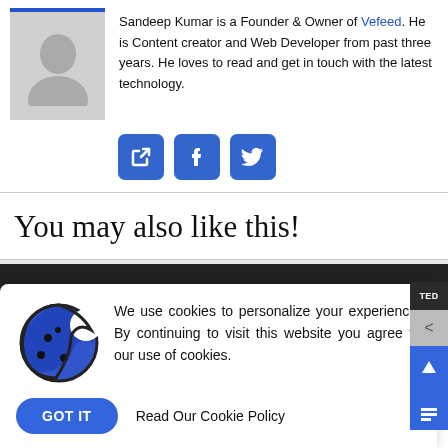Sandeep Kumar is a Founder & Owner of Vefeed. He is Content creator and Web Developer from past three years. He loves to read and get in touch with the latest technology.
[Figure (illustration): Social media icons: external link icon, Facebook icon, Twitter icon, all on blue rounded square buttons]
You may also like this!
© 2018-2022 Vefeed.com | Hosting
We use cookies to personalize your experience. By continuing to visit this website you agree to our use of cookies.
GOT IT   Read Our Cookie Policy